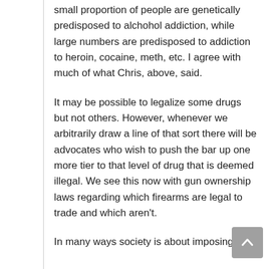small proportion of people are genetically predisposed to alchohol addiction, while large numbers are predisposed to addiction to heroin, cocaine, meth, etc. I agree with much of what Chris, above, said.
It may be possible to legalize some drugs but not others. However, whenever we arbitrarily draw a line of that sort there will be advocates who wish to push the bar up one more tier to that level of drug that is deemed illegal. We see this now with gun ownership laws regarding which firearms are legal to trade and which aren't.
In many ways society is about imposing